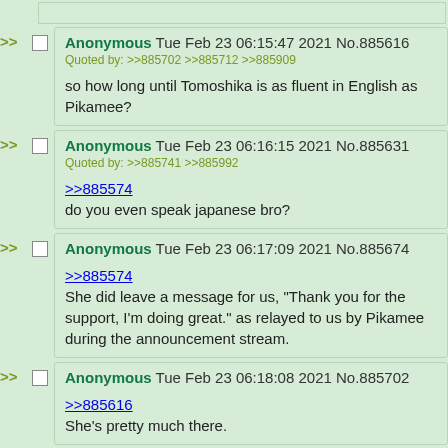Anonymous Tue Feb 23 06:15:47 2021 No.885616
Quoted by: >>885702 >>885712 >>885909
so how long until Tomoshika is as fluent in English as Pikamee?
Anonymous Tue Feb 23 06:16:15 2021 No.885631
Quoted by: >>885741 >>885992
>>885574
do you even speak japanese bro?
Anonymous Tue Feb 23 06:17:09 2021 No.885674
>>885574
She did leave a message for us, "Thank you for the support, I'm doing great." as relayed to us by Pikamee during the announcement stream.
Anonymous Tue Feb 23 06:18:08 2021 No.885702
>>885616
She's pretty much there.